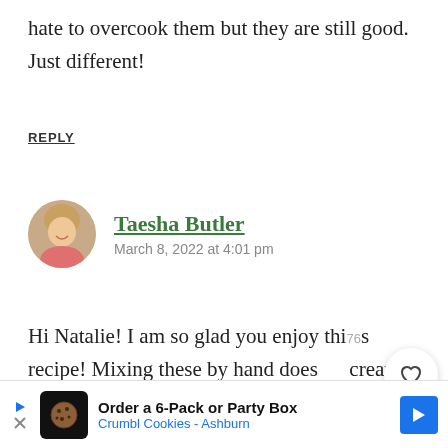hate to overcook them but they are still good. Just different!
REPLY
[Figure (photo): Circular avatar photo of Taesha Butler, a woman with light brown/blonde hair smiling, wearing a pink top.]
Taesha Butler
March 8, 2022 at 4:01 pm
Hi Natalie! I am so glad you enjoy this recipe! Mixing these by hand does create from a fluffier waffle IMO. If you feel they are too soft for your
[Figure (infographic): Advertisement banner: Order a 6-Pack or Party Box - Crumbl Cookies - Ashburn, with play button, cookie icon, blue arrow icon.]